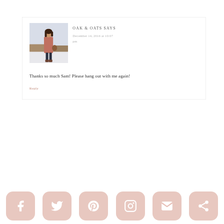[Figure (photo): Profile photo of a woman in a pink/rust coat standing outdoors in a snowy landscape]
OAK & OATS SAYS
December 14, 2016 at 10:07 pm
Thanks so much Sam! Please hang out with me again!
Reply
[Figure (infographic): Social media share buttons bar with Facebook, Twitter, Pinterest, Instagram, Email, and Share icons in pink/dusty rose rounded square buttons]